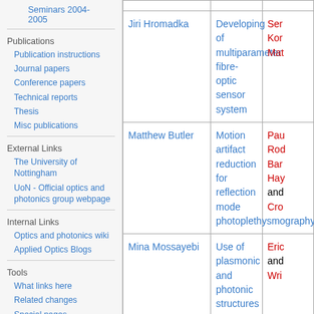Seminars 2004-2005
Publications
Publication instructions
Journal papers
Conference papers
Technical reports
Thesis
Misc publications
External Links
The University of Nottingham
UoN - Official optics and photonics group webpage
Internal Links
Optics and photonics wiki
Applied Optics Blogs
Tools
What links here
Related changes
Special pages
| Name | Topic | Supervisors |
| --- | --- | --- |
| Jiri Hromadka | Developing of multiparameter fibre-optic sensor system | Ser… Kor… Mat… |
| Matthew Butler | Motion artifact reduction for reflection mode photoplethysmography | Pau… Rod… Bar… Hay… and Cro… |
| Mina Mossayebi | Use of plasmonic and photonic structures to enhance optical trapping | Eric… and Wri… |
| Aishah Mustapha | Optical and ultrasound techniques for probing and modulating the nano-mechanical properties of live cells | Ama… Wri… Meli… Mat… |